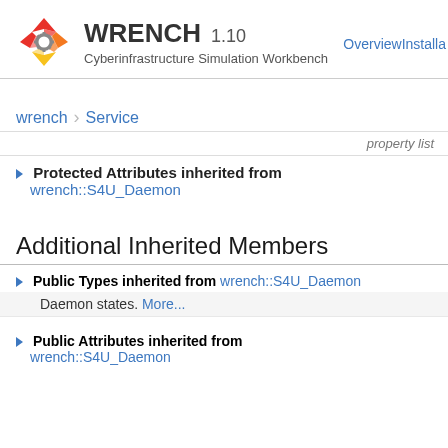[Figure (logo): WRENCH logo: red/orange/yellow diamond shapes with a gear icon]
WRENCH 1.10
Cyberinfrastructure Simulation Workbench
OverviewInstalla
wrench  ›  Service
property list
Protected Attributes inherited from wrench::S4U_Daemon
Additional Inherited Members
Public Types inherited from wrench::S4U_Daemon
Daemon states. More...
Public Attributes inherited from wrench::S4U_Daemon